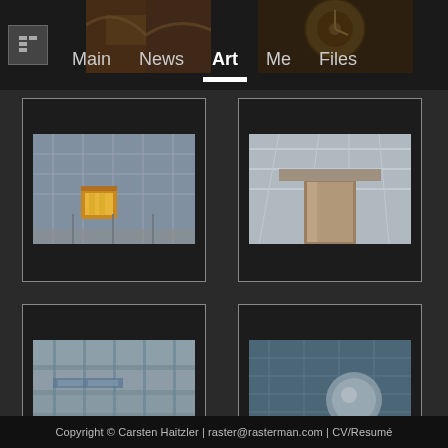Main  News  Art  Me  Files
[Figure (photo): Navigation bar with logo icon and menu items: Main, News, Art (active/bold with underbar), Me, Files. Two small thumbnail photos visible in the nav area.]
[Figure (photo): Six photo thumbnail frames arranged in a 2x3 grid. Row 1: top partially visible thumbnails (brownish fabric/material, vintage clock/gear). Row 2: architectural interior with lantern on ceiling grid; architectural upward view of building column. Row 3: glass building exterior with signage; glass facade with circular window reflection.]
Copyright © Carsten Haitzler | raster@rasterman.com | CV/Resumé